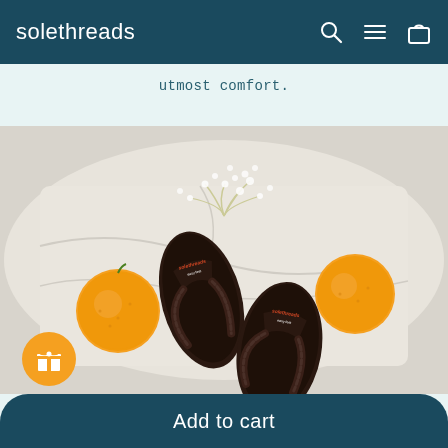solethreads
utmost comfort.
[Figure (photo): Two dark brown Solethreads flip-flop sandals laid flat on a white linen cloth, surrounded by two oranges and white baby's breath flowers. The sandals have textured brown straps with the Solethreads logo visible on the footbed.]
Add to cart